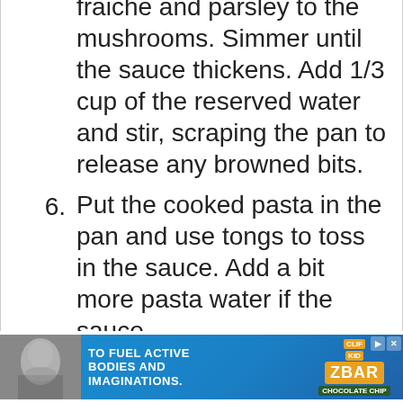fraiche and parsley to the mushrooms. Simmer until the sauce thickens. Add 1/3 cup of the reserved water and stir, scraping the pan to release any browned bits.
6. Put the cooked pasta in the pan and use tongs to toss in the sauce. Add a bit more pasta water if the sauce
[Figure (photo): Advertisement banner: child eating a snack bar, blue background with text 'TO FUEL ACTIVE BODIES AND IMAGINATIONS.' and CLIF Z BAR logo with play/close controls.]